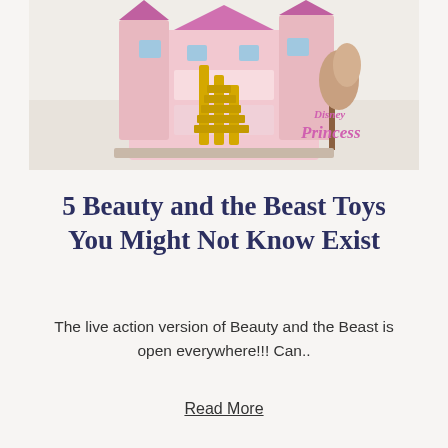[Figure (photo): Disney Princess dollhouse/castle playset toy displayed on a light wood floor. The toy features multiple levels with gold staircases and pink/purple rooms. Disney Princess logo visible in the bottom right corner of the image.]
5 Beauty and the Beast Toys You Might Not Know Exist
The live action version of Beauty and the Beast is open everywhere!!! Can..
Read More